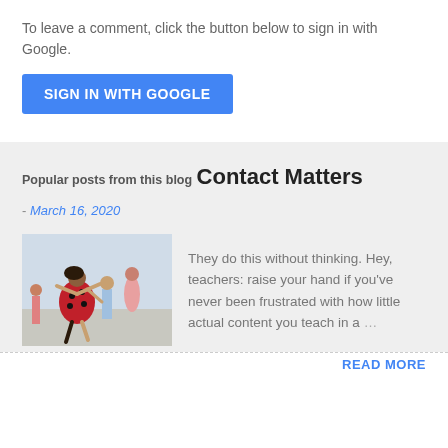To leave a comment, click the button below to sign in with Google.
[Figure (other): Blue 'SIGN IN WITH GOOGLE' button]
Popular posts from this blog
Contact Matters
- March 16, 2020
[Figure (photo): Children dancing or playing outdoors, one child in a colorful dress visible prominently]
They do this without thinking. Hey, teachers: raise your hand if you've never been frustrated with how little actual content you teach in a ...
READ MORE